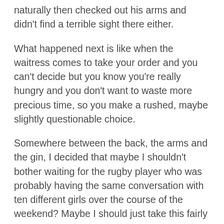naturally then checked out his arms and didn't find a terrible sight there either.
What happened next is like when the waitress comes to take your order and you can't decide but you know you're really hungry and you don't want to waste more precious time, so you make a rushed, maybe slightly questionable choice.
Somewhere between the back, the arms and the gin, I decided that maybe I shouldn't bother waiting for the rugby player who was probably having the same conversation with ten different girls over the course of the weekend? Maybe I should just take this fairly eager young stud (yep I wrote that, yep I'm having a Jackie Collins moment again) and be done with it. I was pretty sure he was flirting with me…